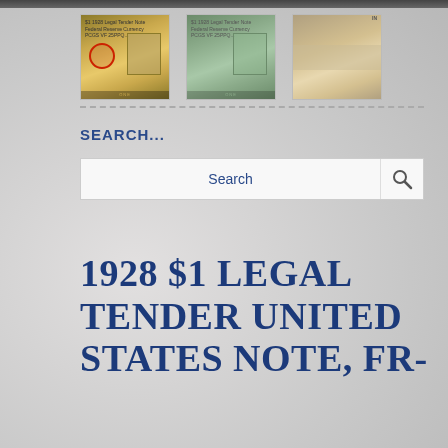[Figure (photo): Top dark strip/banner image at the top of the page]
[Figure (photo): Three thumbnail images of a 1928 $1 Legal Tender United States Note — front view, back view, and edge/detail view of the currency in protective holder]
SEARCH...
[Figure (other): Search bar with magnifying glass icon]
1928 $1 LEGAL TENDER UNITED STATES NOTE, FR-